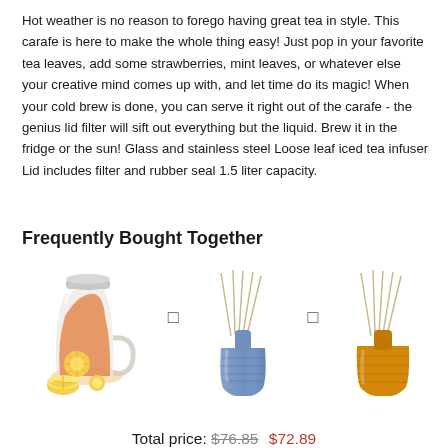Hot weather is no reason to forego having great tea in style. This carafe is here to make the whole thing easy! Just pop in your favorite tea leaves, add some strawberries, mint leaves, or whatever else your creative mind comes up with, and let time do its magic! When your cold brew is done, you can serve it right out of the carafe - the genius lid filter will sift out everything but the liquid. Brew it in the fridge or the sun! Glass and stainless steel Loose leaf iced tea infuser Lid includes filter and rubber seal 1.5 liter capacity.
Frequently Bought Together
[Figure (photo): Glass carafe/pitcher with orange iced tea drink and lemon slices]
[Figure (photo): Blue glass reed diffuser with sticks]
[Figure (photo): Yellow/amber glass reed diffuser with sticks]
Total price: $76.85  $72.89